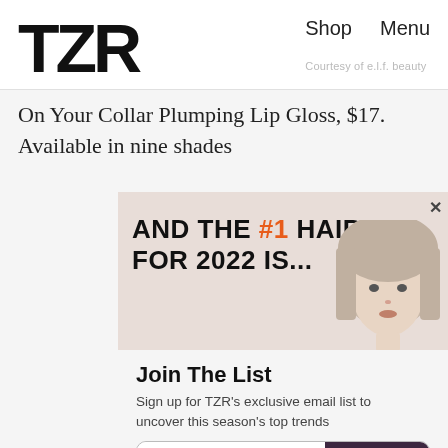TZR  Shop  Menu  Courtesy of e.l.f. beauty
On Your Collar Plumping Lip Gloss, $17. Available in nine shades
[Figure (photo): Advertisement banner with text 'AND THE #1 HAIRCUT FOR 2022 IS...' with a woman's face on the right side]
Join The List
Sign up for TZR's exclusive email list to uncover this season's top trends
Email address  Subscribe